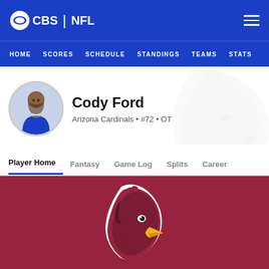CBS | NFL  HOME  SCORES  SCHEDULE  STANDINGS  TEAMS  STATS
[Figure (photo): CBS NFL player profile page for Cody Ford, Arizona Cardinals #72 OT, showing player headshot, team logo watermark, navigation tabs, and team banner]
Cody Ford
Arizona Cardinals • #72 • OT
Player Home
Fantasy
Game Log
Splits
Career